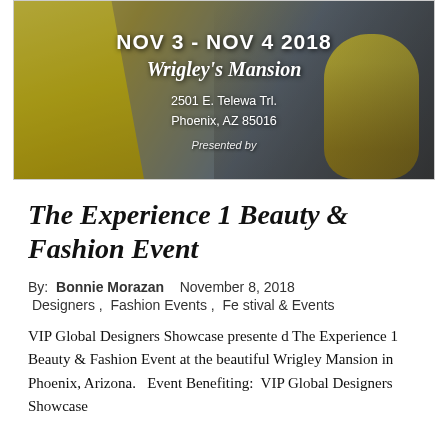[Figure (photo): Event promotional banner photo showing a woman in a yellow ball gown on the left and a young girl in a yellow dress on the right, with overlaid text: 'NOV 3 - NOV 4 2018', 'Wrigley's Mansion', '2501 E. Telewa Trl., Phoenix, AZ 85016', 'Presented by']
The Experience 1 Beauty & Fashion Event
By:  Bonnie Morazan    November 8, 2018
 Designers ,  Fashion Events ,  Festival & Events
VIP Global Designers Showcase presented The Experience 1 Beauty & Fashion Event at the beautiful Wrigley Mansion in Phoenix, Arizona.   Event Benefiting:  VIP Global Designers Showcase